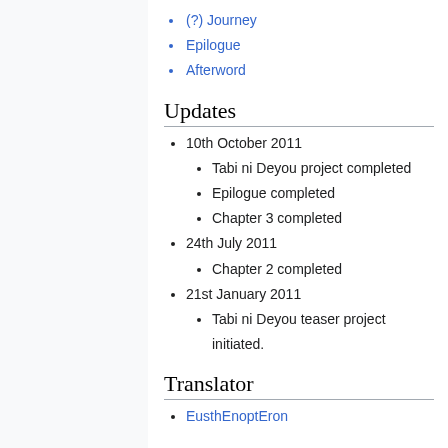(?) Journey
Epilogue
Afterword
Updates
10th October 2011
Tabi ni Deyou project completed
Epilogue completed
Chapter 3 completed
24th July 2011
Chapter 2 completed
21st January 2011
Tabi ni Deyou teaser project initiated.
Translator
EusthEnoptEron